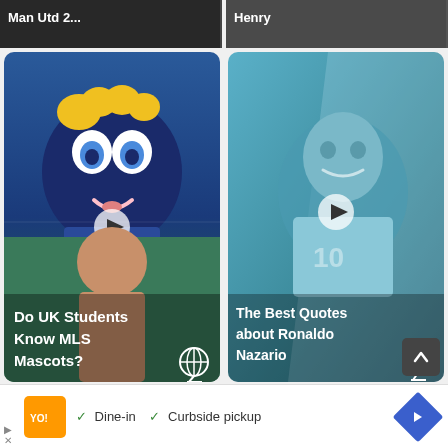[Figure (screenshot): Top strip showing two partially visible video thumbnails with text overlays including 'Man Utd 2...' and 'Henry']
[Figure (screenshot): Video thumbnail showing MLS mascot (blue fuzzy creature with yellow hair) and below it a woman, with title 'Do UK Students Know MLS Mascots?']
[Figure (screenshot): Video thumbnail showing Ronaldo Nazario in teal/blue tones with diagonal graphic element, titled 'The Best Quotes about Ronaldo Nazario']
Dine-in   Curbside pickup